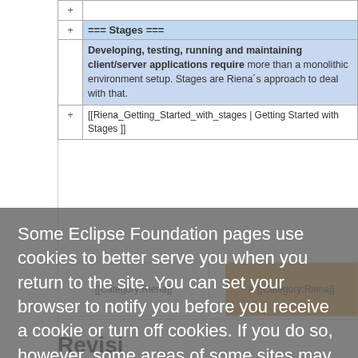| + | Content |
| --- | --- |
| + | === Stages === |
|  | Developing, testing, running and maintaining client/server applications require more than a monolithic environment setup. Stages are Riena´s approach to deal with that. |
| + | [[Riena_Getting_Started_with_stages | Getting Started with Stages ]] |
[[Category:Riena]]
A [[Category:Riena]]
Some Eclipse Foundation pages use cookies to better serve you when you return to the site. You can set your browser to notify you before you receive a cookie or turn off cookies. If you do so, however, some areas of some sites may not function properly. To read Eclipse Foundation Privacy Policy click here.